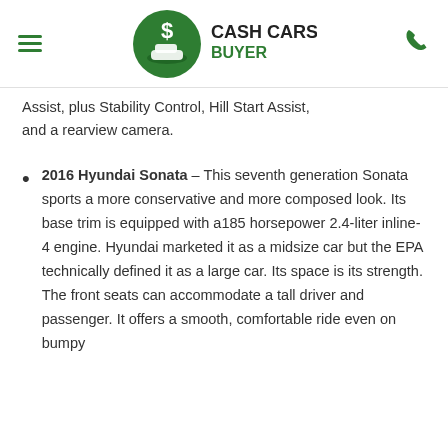Cash Cars Buyer
Assist, plus Stability Control, Hill Start Assist, and a rearview camera.
2016 Hyundai Sonata – This seventh generation Sonata sports a more conservative and more composed look. Its base trim is equipped with a185 horsepower 2.4-liter inline-4 engine. Hyundai marketed it as a midsize car but the EPA technically defined it as a large car. Its space is its strength. The front seats can accommodate a tall driver and passenger. It offers a smooth, comfortable ride even on bumpy